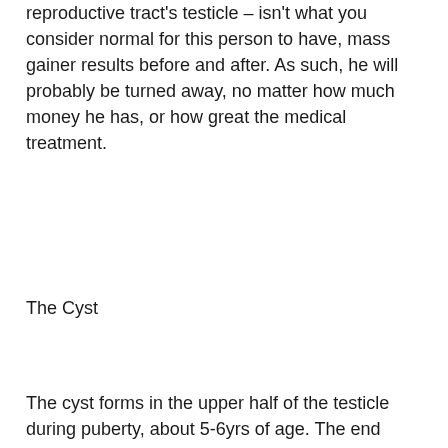reproductive tract's testicle – isn't what you consider normal for this person to have, mass gainer results before and after. As such, he will probably be turned away, no matter how much money he has, or how great the medical treatment.
The Cyst
The cyst forms in the upper half of the testicle during puberty, about 5-6yrs of age. The end result is the same for each of the testicles, however: The testicle itself will remain intact. The cysts are then removed with surgery, typically with a needle being passed down into the scrotum (the area between the legs): They are about 1cm-1, bulk nmn supplement.5cm long and 1cm-3cm wide, bulk nmn supplement. In the case of a small number of people, the cyst can